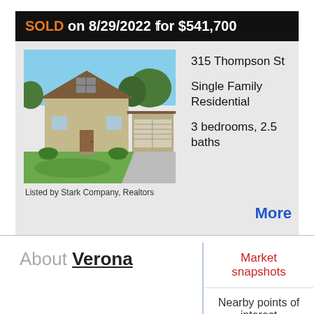SOLD on 8/29/2022 for $541,700
[Figure (photo): Exterior photo of a two-story single-family home with attached garage, tan/brown facade, and green lawn with trees in the background]
Listed by Stark Company, Realtors
315 Thompson St
Single Family Residential
3 bedrooms, 2.5 baths
More
About Verona
Market snapshots
Nearby points of interest
Schools